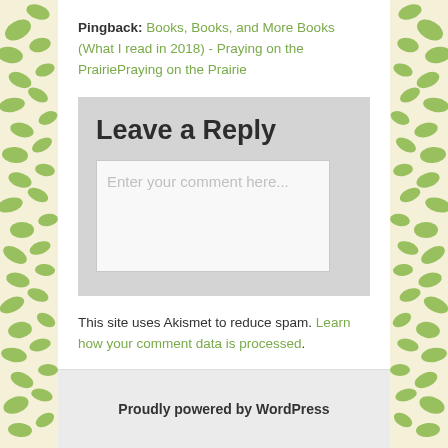Pingback: Books, Books, and More Books (What I read in 2018) - Praying on the PrairiePraying on the Prairie
Leave a Reply
Enter your comment here...
This site uses Akismet to reduce spam. Learn how your comment data is processed.
Proudly powered by WordPress